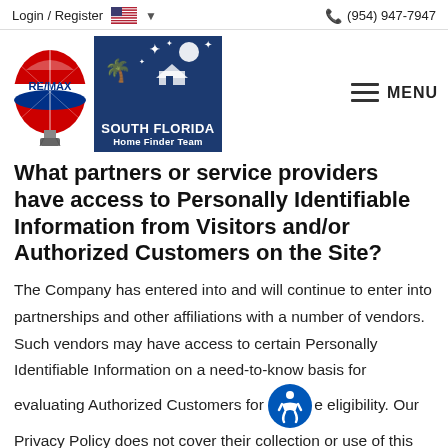Login / Register   🇺🇸 ∨   📞 (954) 947-7947
[Figure (logo): RE/MAX hot air balloon logo and South Florida Home Finder Team logo in navy blue box, alongside hamburger menu icon and MENU text]
What partners or service providers have access to Personally Identifiable Information from Visitors and/or Authorized Customers on the Site?
The Company has entered into and will continue to enter into partnerships and other affiliations with a number of vendors. Such vendors may have access to certain Personally Identifiable Information on a need-to-know basis for evaluating Authorized Customers for the eligibility. Our Privacy Policy does not cover their collection or use of this information or disclosure